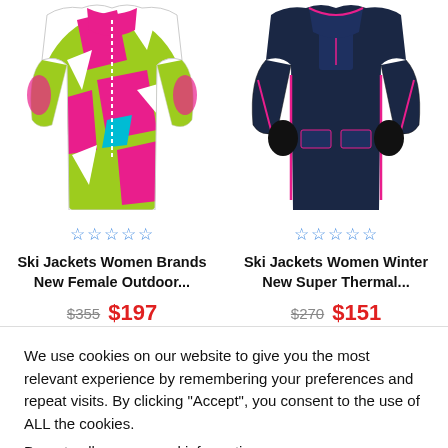[Figure (photo): Colorful patterned women's ski jacket in green, pink, and white geometric print]
[Figure (photo): Dark navy blue women's ski jacket with pink accents and gloves]
★★★★★ (stars, empty/outline)
★★★★★ (stars, empty/outline)
Ski Jackets Women Brands New Female Outdoor...
Ski Jackets Women Winter New Super Thermal...
$355  $197
$270  $151
We use cookies on our website to give you the most relevant experience by remembering your preferences and repeat visits. By clicking “Accept”, you consent to the use of ALL the cookies.
Do not sell my personal information.
Cookie Settings
Accept